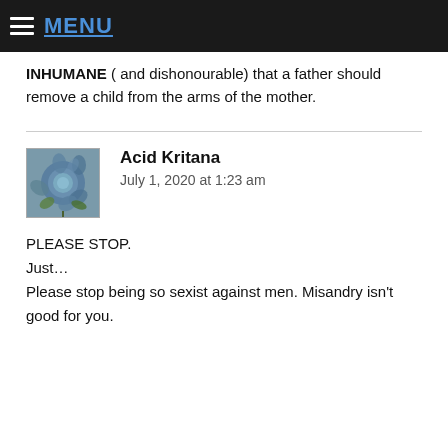MENU
INHUMANE ( and dishonourable) that a father should remove a child from the arms of the mother.
[Figure (photo): Avatar image of a blue rose illustration]
Acid Kritana
July 1, 2020 at 1:23 am
PLEASE STOP.
Just…
Please stop being so sexist against men. Misandry isn't good for you.